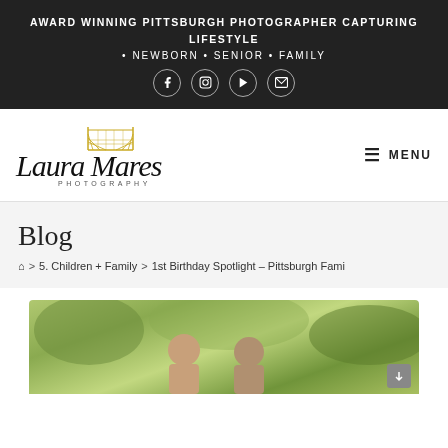AWARD WINNING PITTSBURGH PHOTOGRAPHER CAPTURING LIFESTYLE • NEWBORN • SENIOR • FAMILY
[Figure (logo): Laura Mares Photography logo with cursive script and Pittsburgh bridge graphic in gold]
≡ MENU
Blog
🏠 > 5. Children + Family > 1st Birthday Spotlight – Pittsburgh Fami
[Figure (photo): Outdoor family photo with green foliage background, partially visible]